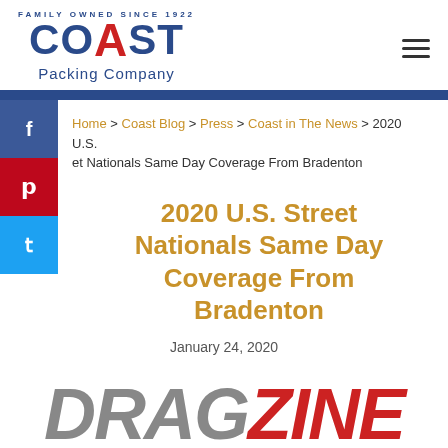[Figure (logo): Coast Packing Company logo with arc text 'Family Owned Since 1922', blue and red lettering, with 'Packing Company' subtitle]
Home > Coast Blog > Press > Coast in The News > 2020 U.S. Street Nationals Same Day Coverage From Bradenton
2020 U.S. Street Nationals Same Day Coverage From Bradenton
January 24, 2020
[Figure (logo): Dragzine logo in large bold italic text, gray 'DRAG' and red 'ZINE']